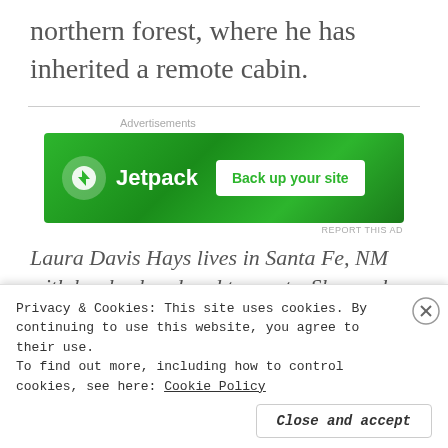northern forest, where he has inherited a remote cabin.
[Figure (screenshot): Jetpack advertisement banner with green background showing Jetpack logo and 'Back up your site' button]
REPORT THIS AD
Laura Davis Hays lives in Santa Fe, NM with her husband and two cats. She works as an
Privacy & Cookies: This site uses cookies. By continuing to use this website, you agree to their use.
To find out more, including how to control cookies, see here: Cookie Policy
Close and accept